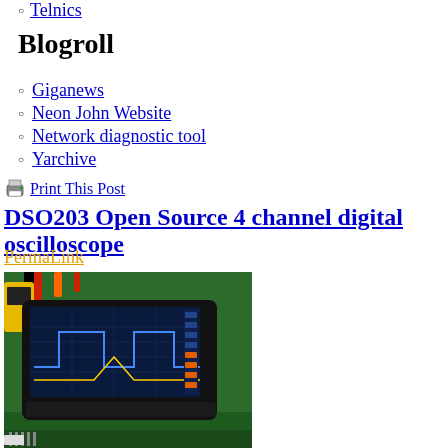Telnics
Blogroll
Giganews
Neon John Website
Network diagnostic tool
Yarchive
Print This Post
DSO203 Open Source 4 channel digital oscilloscope
PermaLink
[Figure (photo): Photo of a DSO203 open source 4-channel digital oscilloscope device sitting on a green PCB circuit board, with wires and electronic components visible around it. The oscilloscope has a small screen displaying waveforms.]